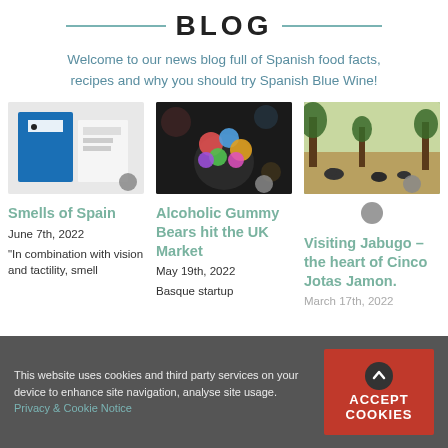BLOG
Welcome to our news blog full of Spanish food facts, recipes and why you should try Spanish Blue Wine!
[Figure (photo): Blue box/binder product with white label]
Smells of Spain
June 7th, 2022
“In combination with vision and tactility, smell
[Figure (photo): Colorful gummy bears in a glass]
Alcoholic Gummy Bears hit the UK Market
May 19th, 2022
Basque startup
[Figure (photo): Pigs in a forest/woodland setting]
Visiting Jabugo – the heart of Cinco Jotas Jamon.
March 17th, 2022
This website uses cookies and third party services on your device to enhance site navigation, analyse site usage. Privacy & Cookie Notice
ACCEPT COOKIES